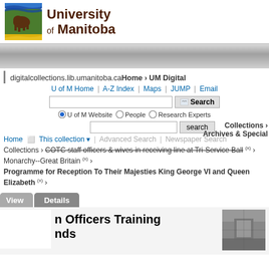[Figure (logo): University of Manitoba logo with bison and shield, text 'University of Manitoba']
digitalcollections.lib.umanitoba.ca Home › UM Digital
U of M Home | A-Z Index | Maps | JUMP | Email
U of M Website (selected) | People | Research Experts
Collections › Archives & Special Collections
Home   This collection ▾    Advanced Search    Newspaper Search   Collections › Archives & Special Collections › COTC staff officers & wives in receiving line at Tri-Service Ball (x) › Monarchy--Great Britain (x) › Programme for Reception To Their Majesties King George VI and Queen Elizabeth (x) ›
View   Details
n Officers Training nds